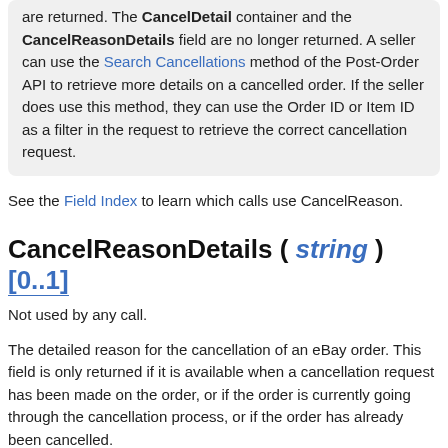are returned. The CancelDetail container and the CancelReasonDetails field are no longer returned. A seller can use the Search Cancellations method of the Post-Order API to retrieve more details on a cancelled order. If the seller does use this method, they can use the Order ID or Item ID as a filter in the request to retrieve the correct cancellation request.
See the Field Index to learn which calls use CancelReason.
CancelReasonDetails ( string ) [0..1]
Not used by any call.
The detailed reason for the cancellation of an eBay order. This field is only returned if it is available when a cancellation request has been made on the order, or if the order is currently going through the cancellation process, or if the order has already been cancelled.